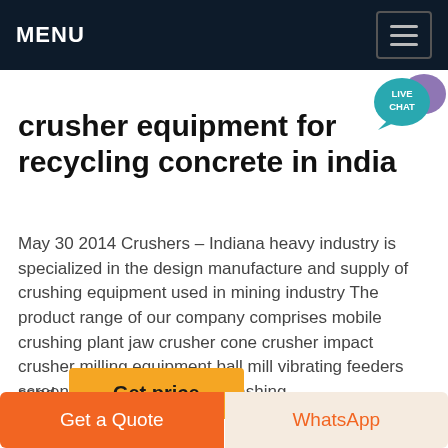MENU
crusher equipment for recycling concrete in india
May 30 2014 Crushers – Indiana heavy industry is specialized in the design manufacture and supply of crushing equipment used in mining industry The product range of our company comprises mobile crushing plant jaw crusher cone crusher impact crusher milling equipment ball mill vibrating feeders screens and equipment for washing sand
Get price
Get a Quote
WhatsApp